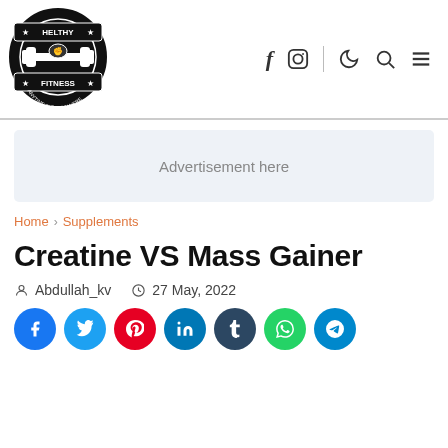[Figure (logo): Healthy Fitness circular logo with dumbbell icon, stars, and text 'HELTHY FITNESS ANYTIME AND ANYWHERE']
f  [instagram]  |  [moon]  [search]  [menu]
Advertisement here
Home > Supplements
Creatine VS Mass Gainer
Abdullah_kv   27 May, 2022
[Facebook] [Twitter] [Pinterest] [LinkedIn] [Tumblr] [WhatsApp] [Telegram]